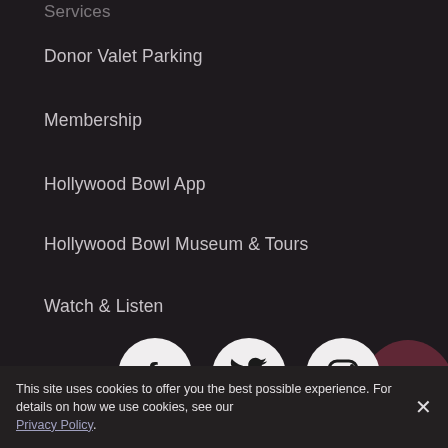Donor Valet Parking
Membership
Hollywood Bowl App
Hollywood Bowl Museum & Tours
Watch & Listen
[Figure (illustration): Three white circular social media icons (Facebook, Twitter, Instagram) on dark background, with partial row of more icons below, and a burgundy/mauve decorative blob partially visible on the right]
This site uses cookies to offer you the best possible experience. For details on how we use cookies, see our Privacy Policy.